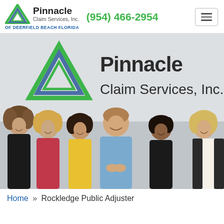Pinnacle Claim Services, Inc. OF DEERFIELD BEACH FLORIDA | (954) 466-2954
[Figure (photo): Group photo of six Pinnacle Claim Services employees standing in front of a wall sign reading 'Pinnacle Claim Services, Inc.' with the company logo. Five women and one man in business casual attire.]
Home » Rockledge Public Adjuster